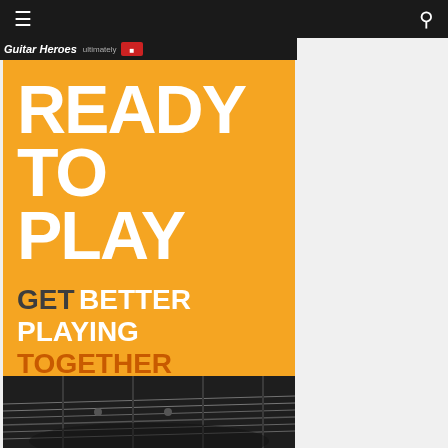☰  [nav]  🔍
[Figure (illustration): Guitar Heroes header strip with dark background]
[Figure (infographic): Elixir Strings advertisement on orange background. Large white bold text reads READY TO PLAY. Below in dark and white bold text: GET BETTER PLAYING TOGETHER. Elixir Strings logo badge at bottom center. Lower portion shows black and white photo of guitar neck/strings.]